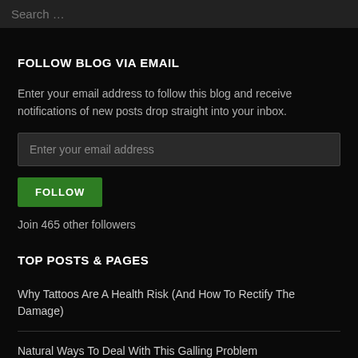Search …
FOLLOW BLOG VIA EMAIL
Enter your email address to follow this blog and receive notifications of new posts drop straight into your inbox.
Enter your email address
FOLLOW
Join 465 other followers
TOP POSTS & PAGES
Why Tattoos Are A Health Risk (And How To Rectify The Damage)
Natural Ways To Deal With This Galling Problem